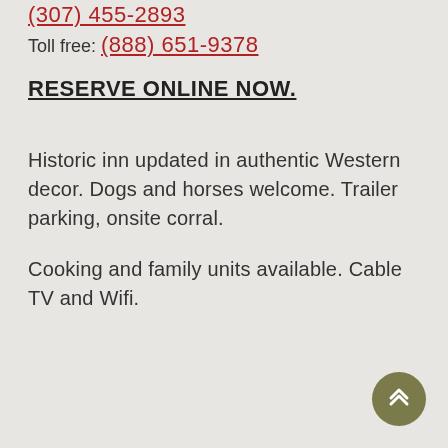(307) 455-2893
Toll free: (888) 651-9378
RESERVE ONLINE NOW.
Historic inn updated in authentic Western decor. Dogs and horses welcome. Trailer parking, onsite corral.
Cooking and family units available. Cable TV and Wifi.